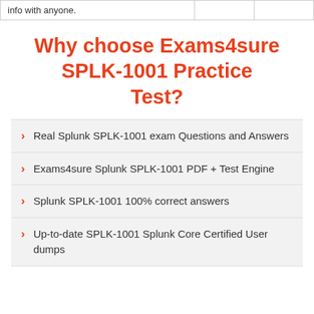| info with anyone. |  |  |
Why choose Exams4sure SPLK-1001 Practice Test?
Real Splunk SPLK-1001 exam Questions and Answers
Exams4sure Splunk SPLK-1001 PDF + Test Engine
Splunk SPLK-1001 100% correct answers
Up-to-date SPLK-1001 Splunk Core Certified User dumps